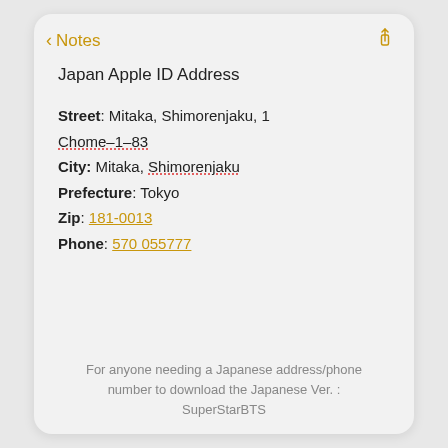< Notes
Japan Apple ID Address
Street: Mitaka, Shimorenjaku, 1 Chome–1–83
City: Mitaka, Shimorenjaku
Prefecture: Tokyo
Zip: 181-0013
Phone: 570 055777
For anyone needing a Japanese address/phone number to download the Japanese Ver. : SuperStarBTS